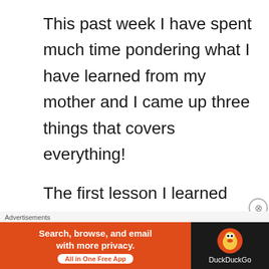This past week I have spent much time pondering what I have learned from my mother and I came up three things that covers everything!
The first lesson I learned from my mother is hard work. She taught me that if you work hard you will have what you need, maybe not everything
[Figure (screenshot): Advertisement banner for DuckDuckGo app with orange left panel reading 'Search, browse, and email with more privacy. All in One Free App' and dark right panel with DuckDuckGo logo]
Advertisements